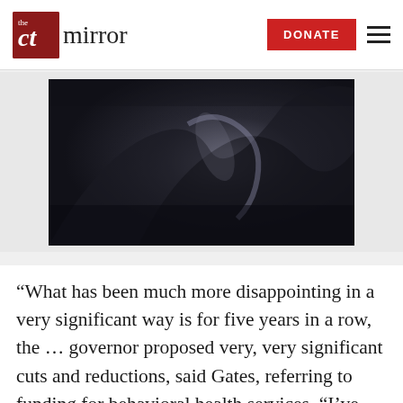the CT mirror — DONATE
[Figure (photo): Dark, abstract close-up photo, appears to show folded dark fabric or metal surfaces with light reflections]
“What has been much more disappointing in a very significant way is for five years in a row, the … governor proposed very, very significant cuts and reductions, said Gates, referring to funding for behavioral health services. “I’ve never quite experienced in my career a period